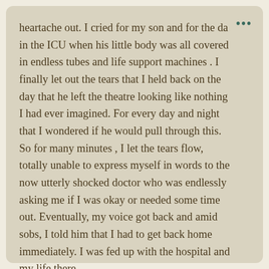heartache out. I cried for my son and for the da… in the ICU when his little body was all covered in endless tubes and life support machines . I finally let out the tears that I held back on the day that he left the theatre looking like nothing I had ever imagined. For every day and night that I wondered if he would pull through this. So for many minutes , I let the tears flow, totally unable to express myself in words to the now utterly shocked doctor who was endlessly asking me if I was okay or needed some time out. Eventually, my voice got back and amid sobs, I told him that I had to get back home immediately. I was fed up with the hospital and my life there.